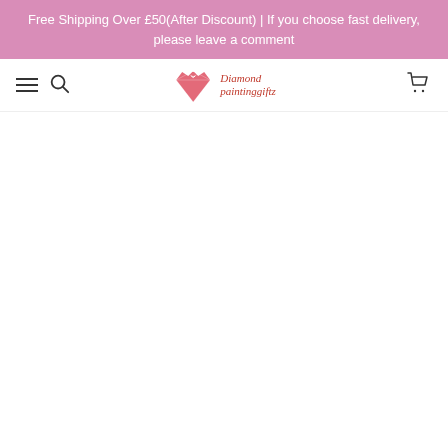Free Shipping Over £50(After Discount) | If you choose fast delivery, please leave a comment
[Figure (logo): Diamond paintinggiftz logo with a heart-shaped diamond and bow icon in red/pink, with italic red text reading 'Diamond paintinggiftz']